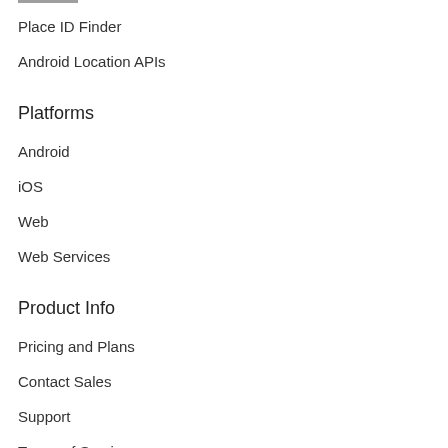Place ID Finder
Android Location APIs
Platforms
Android
iOS
Web
Web Services
Product Info
Pricing and Plans
Contact Sales
Support
Terms of Service